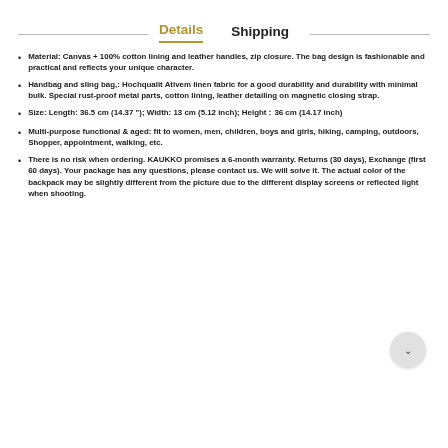Details   Shipping
Material: Canvas + 100% cotton lining and leather handles, zip closure. The bag design is fashionable and practical and reflects your unique character.
Handbag and sling bag,: Hochqualit Ativem linen fabric for a good durability and durability with minimal bulk. Special rust-proof metal parts, cotton lining, leather detailing on magnetic closing strap.
Size: Length: 36.5 cm (14.37 "); Width: 13 cm (5.12 inch); Height：36 cm (14.17 inch)
Multi-purpose functional & aged: fit to women, men, children, boys and girls, hiking, camping, outdoors, Shopper, appointment, walking, etc.
There is no risk when ordering. KAUKKO promises a 6-month warranty. Returns (30 days), Exchange (first 60 days). Your package has any questions, please contact us. We will solve it. The actual color of the backpack may be slightly different from the picture due to the different display screens or reflected light when shooting.